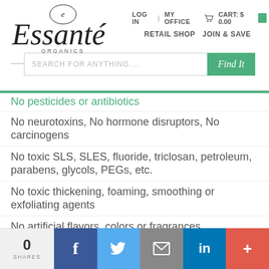[Figure (logo): Essante Organics logo - The Organic Living Company]
LOG IN   MY OFFICE   CART: $0.00   RETAIL SHOP   JOIN & SAVE
[Figure (screenshot): Search bar with placeholder 'SEARCH FOR ANYTHING....' and green 'Find It' button]
No pesticides or antibiotics
No neurotoxins, No hormone disruptors, No carcinogens
No toxic SLS, SLES, fluoride, triclosan, petroleum, parabens, glycols, PEGs, etc.
No toxic thickening, foaming, smoothing or exfoliating agents
No artificial flavors, colors or fragrances
No high fructose corn syrup or chemical sweeteners
No toxic pre... f life on all products th...
[Figure (screenshot): ADD TO CART green button overlay]
0 SHARES
[Figure (infographic): Social sharing bar: Facebook, Twitter, Email, LinkedIn, More buttons]